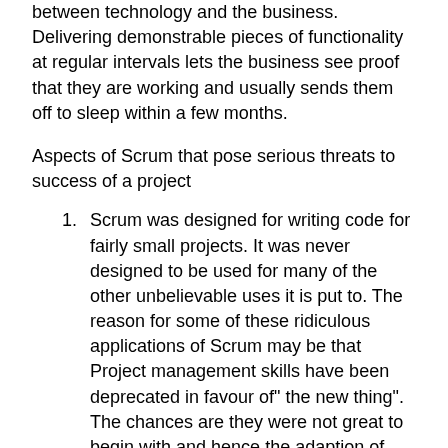between technology and the business. Delivering demonstrable pieces of functionality at regular intervals lets the business see proof that they are working and usually sends them off to sleep within a few months.
Aspects of Scrum that pose serious threats to success of a project
Scrum was designed for writing code for fairly small projects. It was never designed to be used for many of the other unbelievable uses it is put to. The reason for some of these ridiculous applications of Scrum may be that Project management skills have been deprecated in favour of" the new thing". The chances are they were not great to begin with and hence the adaption of Scrum
Scrum is NOT Project Management, it’s designed by software engineers for software development. In small projects, the Product Owner could carry in his head all the stuff normally entrusted to a project and the scrum master can run the development, but this